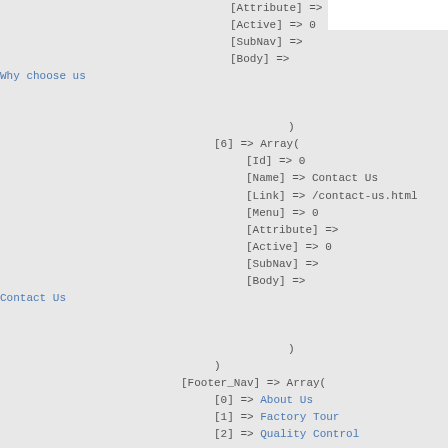[Attribute] =>
[Active] => 0
[SubNav] =>
[Body] =>
Why choose us
)
[6] => Array(
[Id] => 0
[Name] => Contact Us
[Link] => /contact-us.html
[Menu] => 0
[Attribute] =>
[Active] => 0
[SubNav] =>
[Body] =>
Contact Us
)
)
[Footer_Nav] => Array(
[0] => About Us
[1] => Factory Tour
[2] => Quality Control